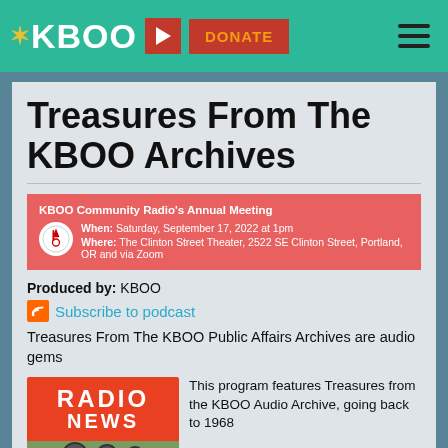KBOO | DONATE
Treasures From The KBOO Archives
KBOO Community Radio's Annual Meeting
When: Saturday, September 17, 2022 at 1pm
Where: The Clinton Street Theater, 2522 SE Clinton Street, Portland, OR and via Zoom
Produced by: KBOO
Subscribe to podcast
Treasures From The KBOO Public Affairs Archives are audio gems
[Figure (photo): Radio News sign on a building]
This program features Treasures from the KBOO Audio Archive, going back to 1968